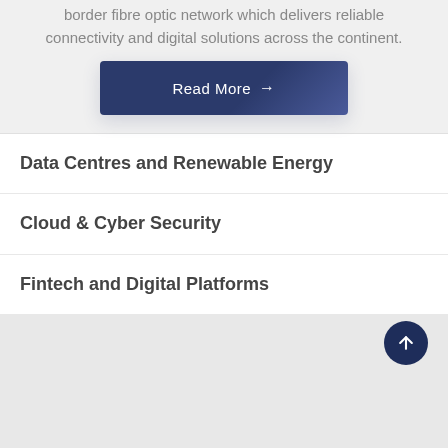border fibre optic network which delivers reliable connectivity and digital solutions across the continent.
Read More →
Data Centres and Renewable Energy
Cloud & Cyber Security
Fintech and Digital Platforms